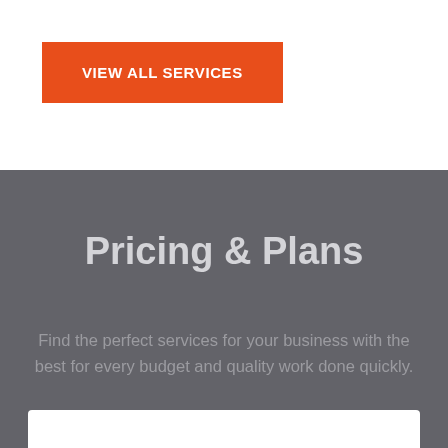[Figure (other): Orange button with white uppercase text 'VIEW ALL SERVICES']
Pricing & Plans
Find the perfect services for your business with the best for every budget and quality work done quickly.